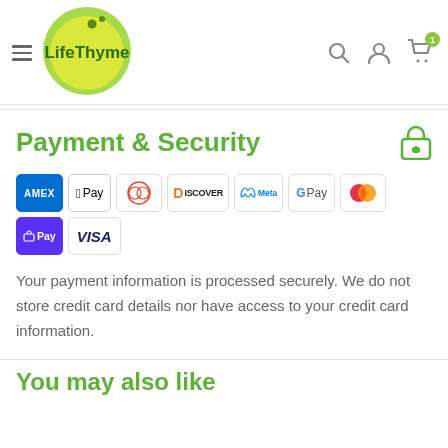[Figure (logo): LifeThyme logo — yellow-green circle with 'LifeThyme' text in dark green]
Payment & Security
[Figure (infographic): Payment method icons: AMEX, Apple Pay, Diners Club, Discover, Meta Pay, Google Pay, Mastercard, Shop Pay, VISA]
Your payment information is processed securely. We do not store credit card details nor have access to your credit card information.
You may also like